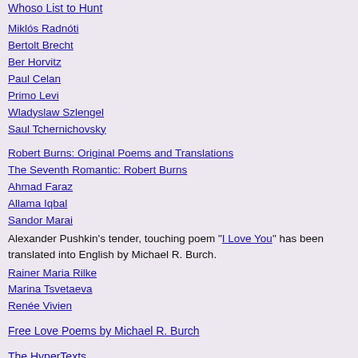Whoso List to Hunt
Miklós Radnóti
Bertolt Brecht
Ber Horvitz
Paul Celan
Primo Levi
Wladyslaw Szlengel
Saul Tchernichovsky
Robert Burns: Original Poems and Translations
The Seventh Romantic: Robert Burns
Ahmad Faraz
Allama Iqbal
Sandor Marai
Alexander Pushkin's tender, touching poem "I Love You" has been translated into English by Michael R. Burch.
Rainer Maria Rilke
Marina Tsvetaeva
Renée Vivien
Free Love Poems by Michael R. Burch
The HyperTexts